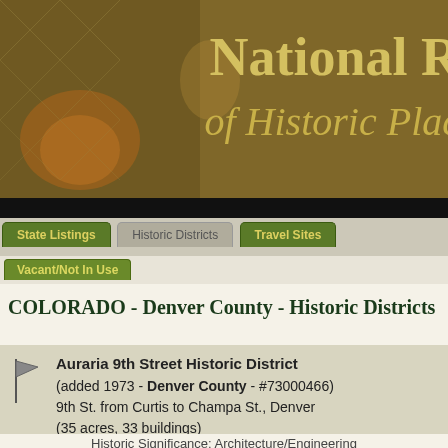[Figure (photo): National Register of Historic Places website header banner showing a sepia-toned interior room photograph with fireplace and furnishings]
National Register of Historic Places
State Listings  Historic Districts  Travel Sites
Vacant/Not In Use
COLORADO - Denver County - Historic Districts
Auraria 9th Street Historic District (added 1973 - Denver County - #73000466) 9th St. from Curtis to Champa St., Denver (35 acres, 33 buildings)
Historic Significance: Architecture/Engineering
Architect, builder, or engineer: Unknown